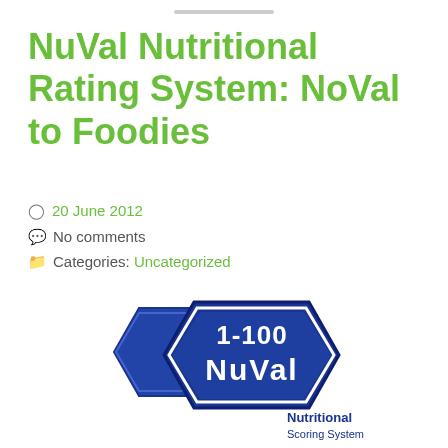NuVal Nutritional Rating System: NoVal to Foodies
20 June 2012
No comments
Categories: Uncategorized
[Figure (logo): NuVal Nutritional Scoring System logo — two blue hexagons, the front one showing '1-100' at top and 'NuVal' in large text, with 'Nutritional Scoring System' text at bottom right. TM mark top right.]